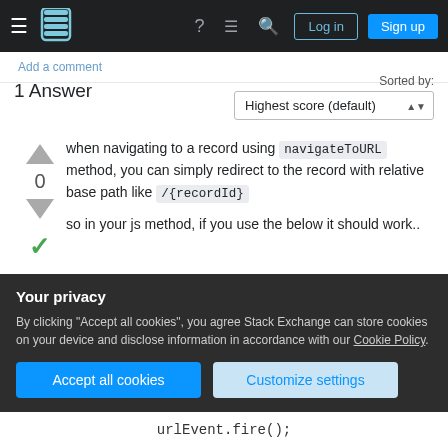Stack Exchange navigation bar with Log in and Sign up buttons
Add a comment
1 Answer
Sorted by: Highest score (default)
when navigating to a record using navigateToURL method, you can simply redirect to the record with relative base path like /{recordId}
so in your js method, if you use the below it should work..
Your privacy
By clicking "Accept all cookies", you agree Stack Exchange can store cookies on your device and disclose information in accordance with our Cookie Policy.
Accept all cookies  Customize settings
urlEvent.fire();